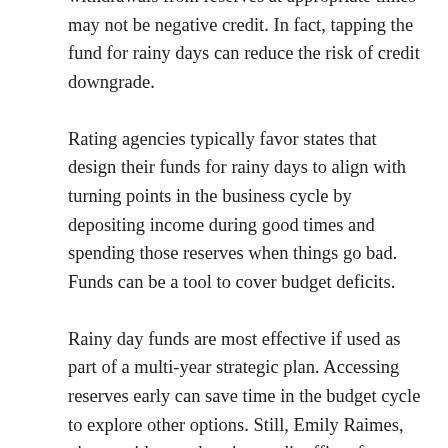withdrawals from reserves at appropriate times may not be negative credit. In fact, tapping the fund for rainy days can reduce the risk of credit downgrade.
Rating agencies typically favor states that design their funds for rainy days to align with turning points in the business cycle by depositing income during good times and spending those reserves when things go bad. Funds can be a tool to cover budget deficits.
Rainy day funds are most effective if used as part of a multi-year strategic plan. Accessing reserves early can save time in the budget cycle to explore other options. Still, Emily Raimes, vice president and senior credit officer for Moody's Investors Service, said her agency looks more favorable when states don't fully deplete the fund at the start of a downturn.
Such an approach, she said, “means states are ready to